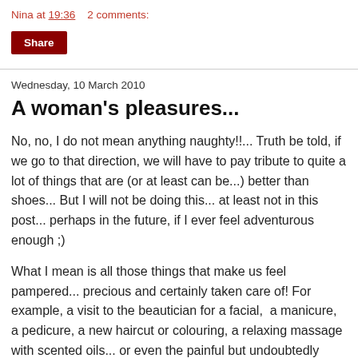Nina at 19:36   2 comments:
Share
Wednesday, 10 March 2010
A woman's pleasures...
No, no, I do not mean anything naughty!!... Truth be told, if we go to that direction, we will have to pay tribute to quite a lot of things that are (or at least can be...) better than shoes... But I will not be doing this... at least not in this post... perhaps in the future, if I ever feel adventurous enough ;)
What I mean is all those things that make us feel pampered... precious and certainly taken care of! For example, a visit to the beautician for a facial,  a manicure, a pedicure, a new haircut or colouring, a relaxing massage with scented oils... or even the painful but undoubtedly necessary bikini wax! Yes, women the world over treat themselves to these little (or big...) pleasures (ok, I perhaps